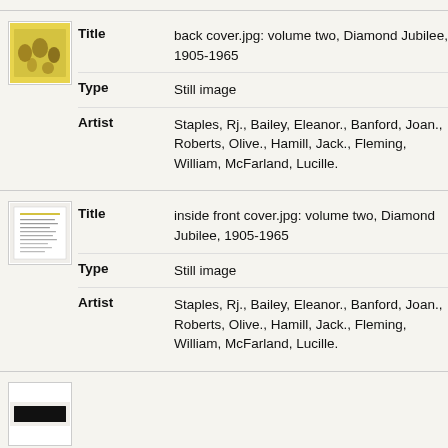[Figure (photo): Thumbnail image of a yellow book back cover with illustrated figures]
| Title | back cover.jpg: volume two, Diamond Jubilee, 1905-1965 |
| Type | Still image |
| Artist | Staples, Rj., Bailey, Eleanor., Banford, Joan., Roberts, Olive., Hamill, Jack., Fleming, William, McFarland, Lucille. |
[Figure (photo): Thumbnail image of inside front cover page with text listing]
| Title | inside front cover.jpg: volume two, Diamond Jubilee, 1905-1965 |
| Type | Still image |
| Artist | Staples, Rj., Bailey, Eleanor., Banford, Joan., Roberts, Olive., Hamill, Jack., Fleming, William, McFarland, Lucille. |
[Figure (photo): Thumbnail image of another page (partially visible)]